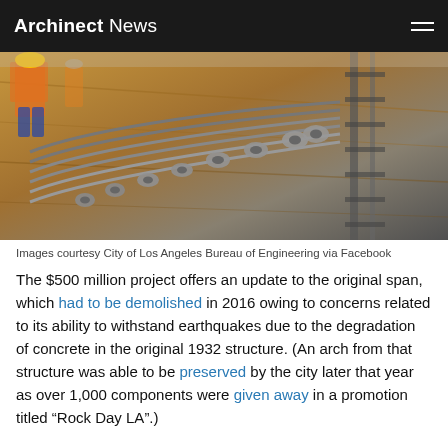Archinect News
[Figure (photo): Construction photo showing metal cable anchor components laid out on a wooden surface at a construction site, with workers in safety vests visible in the background. Image courtesy City of Los Angeles Bureau of Engineering via Facebook.]
Images courtesy City of Los Angeles Bureau of Engineering via Facebook
The $500 million project offers an update to the original span, which had to be demolished in 2016 owing to concerns related to its ability to withstand earthquakes due to the degradation of concrete in the original 1932 structure. (An arch from that structure was able to be preserved by the city later that year as over 1,000 components were given away in a promotion titled “Rock Day LA”.)